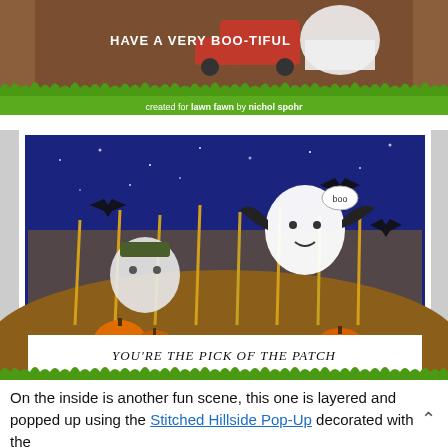[Figure (photo): Top portion of a Halloween-themed handmade card showing a scene with a ghost, red truck, and text 'HAVE A VERY BOO-TIFUL' with green grass border strip at bottom reading 'created for lawn fawn by nichol spohr']
[Figure (photo): Halloween pop-up card showing a nighttime corn field scene with Frankenstein, bat-winged ghost saying 'BOO', flying bats, pumpkins, and text 'YOU'RE THE PICK OF THE PATCH'. Green grass border at bottom reading 'created for lawn fawn by nichol spohr']
On the inside is another fun scene, this one is layered and popped up using the Stitched Hillside Pop-Up decorated with the